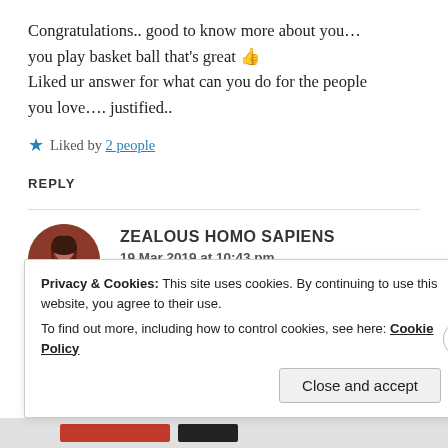Congratulations.. good to know more about you... you play basket ball that's great 👍 Liked ur answer for what can you do for the people you love.... justified..
Liked by 2 people
REPLY
ZEALOUS HOMO SAPIENS
19 Mar 2019 at 10:43 pm
Privacy & Cookies: This site uses cookies. By continuing to use this website, you agree to their use. To find out more, including how to control cookies, see here: Cookie Policy
Close and accept